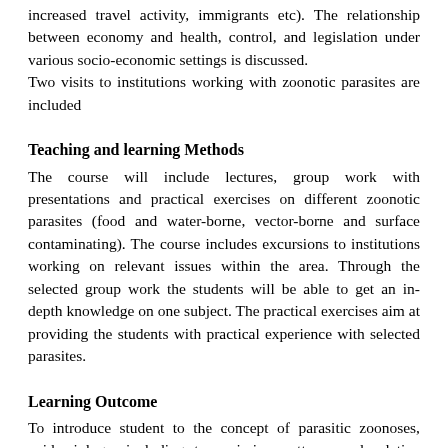increased travel activity, immigrants etc). The relationship between economy and health, control, and legislation under various socio-economic settings is discussed.
Two visits to institutions working with zoonotic parasites are included
Teaching and learning Methods
The course will include lectures, group work with presentations and practical exercises on different zoonotic parasites (food and water-borne, vector-borne and surface contaminating). The course includes excursions to institutions working on relevant issues within the area. Through the selected group work the students will be able to get an in-depth knowledge on one subject. The practical exercises aim at providing the students with practical experience with selected parasites.
Learning Outcome
To introduce student to the concept of parasitic zoonoses, epidemiology, including transmission patterns and relative risks, diagnosis, pathological consequences, as well as prevention and control. Focus will be on livestock production, human health and socio-economical importance.
Knowledge:
Describe the most important groups of zoonotic parasites and the